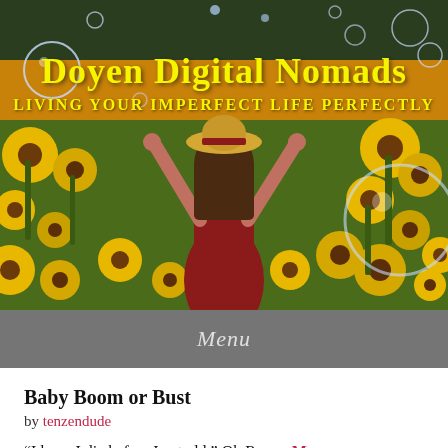[Figure (photo): Woman in red dress and straw hat standing with arms raised in a sunflower field, with soap bubbles floating around. Hero banner image for 'Doyen Digital Nomads' website.]
Doyen Digital Nomads
LIVING YOUR IMPERFECT LIFE PERFECTLY
Menu
Baby Boom or Bust
by tenzendude
“I hope I die before I get old.” Oh Roger, Mr.